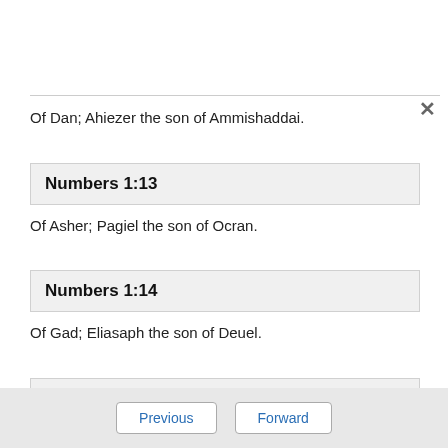Of Dan; Ahiezer the son of Ammishaddai.
Numbers 1:13
Of Asher; Pagiel the son of Ocran.
Numbers 1:14
Of Gad; Eliasaph the son of Deuel.
Numbers 1:15
Previous   Forward